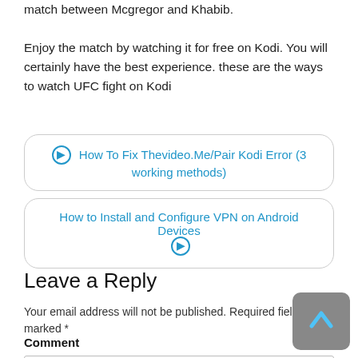match between Mcgregor and Khabib. Enjoy the match by watching it for free on Kodi. You will certainly have the best experience. these are the ways to watch UFC fight on Kodi
How To Fix Thevideo.Me/Pair Kodi Error (3 working methods)
How to Install and Configure VPN on Android Devices
Leave a Reply
Your email address will not be published. Required fields are marked *
Comment